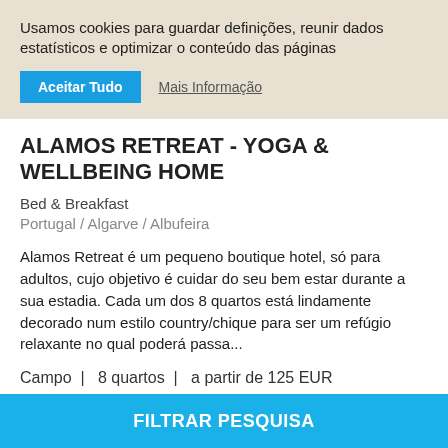Usamos cookies para guardar definições, reunir dados estatísticos e optimizar o conteúdo das páginas
Aceitar Tudo | Mais Informação
ALAMOS RETREAT - YOGA & WELLBEING HOME
Bed & Breakfast
Portugal / Algarve / Albufeira
Alamos Retreat é um pequeno boutique hotel, só para adultos, cujo objetivo é cuidar do seu bem estar durante a sua estadia. Cada um dos 8 quartos está lindamente decorado num estilo country/chique para ser um refúgio relaxante no qual poderá passa...
Campo  |  8 quartos  |  a partir de 125 EUR
VER BED & BREAKFAST
FILTRAR PESQUISA